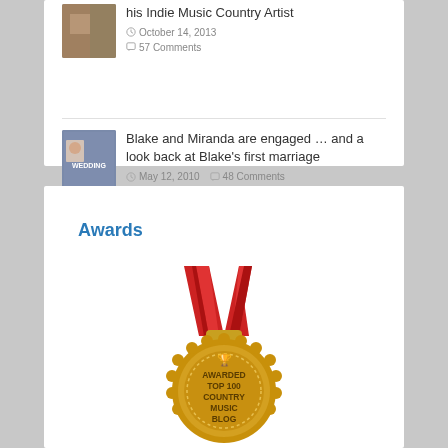his Indie Music Country Artist
October 14, 2013
57 Comments
Blake and Miranda are engaged … and a look back at Blake's first marriage
May 12, 2010
48 Comments
Awards
[Figure (illustration): Gold medal with red ribbon awarded Top 100 Country Music Blog]